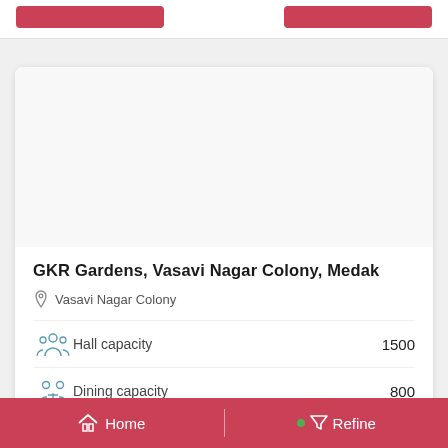[Figure (screenshot): Top strip with two red buttons on white background]
[Figure (photo): Venue photo area (white/blank image placeholder) inside card]
GKR Gardens, Vasavi Nagar Colony, Medak
Vasavi Nagar Colony
Hall capacity   1500
Dining capacity   800
Home   Refine